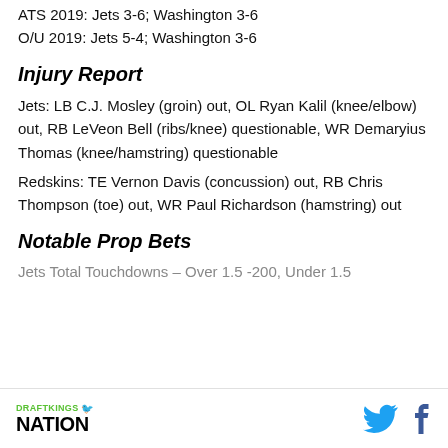ATS 2019: Jets 3-6; Washington 3-6
O/U 2019: Jets 5-4; Washington 3-6
Injury Report
Jets: LB C.J. Mosley (groin) out, OL Ryan Kalil (knee/elbow) out, RB LeVeon Bell (ribs/knee) questionable, WR Demaryius Thomas (knee/hamstring) questionable
Redskins: TE Vernon Davis (concussion) out, RB Chris Thompson (toe) out, WR Paul Richardson (hamstring) out
Notable Prop Bets
Jets Total Touchdowns – Over 1.5 -200, Under 1.5
DRAFTKINGS NATION